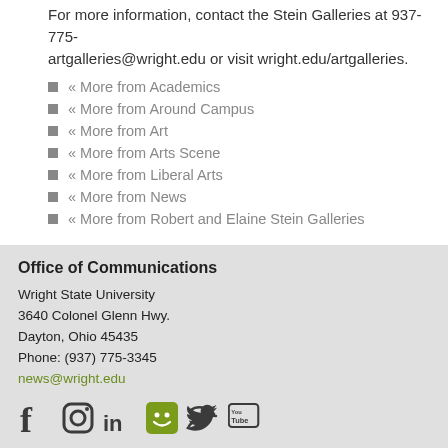For more information, contact the Stein Galleries at 937-775- artgalleries@wright.edu or visit wright.edu/artgalleries.
« More from Academics
« More from Around Campus
« More from Art
« More from Arts Scene
« More from Liberal Arts
« More from News
« More from Robert and Elaine Stein Galleries
Office of Communications
Wright State University
3640 Colonel Glenn Hwy.
Dayton, Ohio 45435
Phone: (937) 775-3345
news@wright.edu